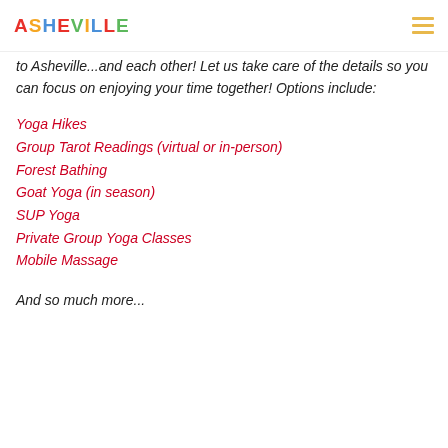ASHEVILLE
to Asheville...and each other! Let us take care of the details so you can focus on enjoying your time together! Options include:
Yoga Hikes
Group Tarot Readings (virtual or in-person)
Forest Bathing
Goat Yoga (in season)
SUP Yoga
Private Group Yoga Classes
Mobile Massage
And so much more...